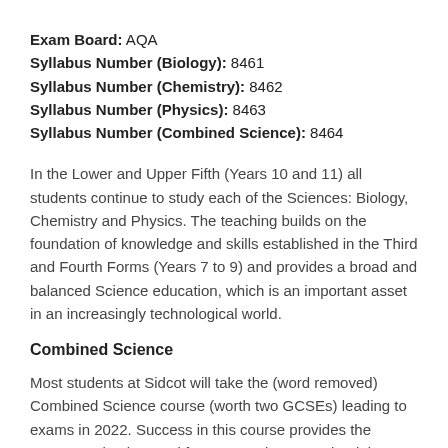Exam Board: AQA
Syllabus Number (Biology): 8461
Syllabus Number (Chemistry): 8462
Syllabus Number (Physics): 8463
Syllabus Number (Combined Science): 8464
In the Lower and Upper Fifth (Years 10 and 11) all students continue to study each of the Sciences: Biology, Chemistry and Physics. The teaching builds on the foundation of knowledge and skills established in the Third and Fourth Forms (Years 7 to 9) and provides a broad and balanced Science education, which is an important asset in an increasingly technological world.
Combined Science
Most students at Sidcot will take the (word removed) Combined Science course (worth two GCSEs) leading to exams in 2022. Success in this course provides the necessary background for progression to study Biology,